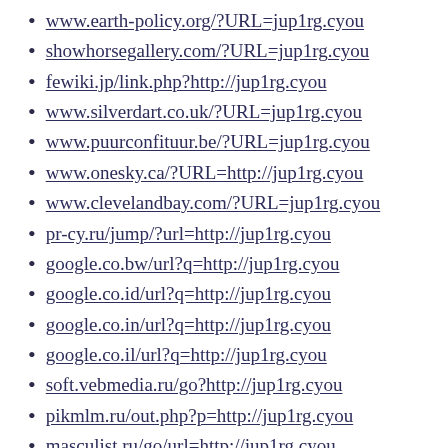www.earth-policy.org/?URL=jup1rg.cyou
showhorsegallery.com/?URL=jup1rg.cyou
fewiki.jp/link.php?http://jup1rg.cyou
www.silverdart.co.uk/?URL=jup1rg.cyou
www.puurconfituur.be/?URL=jup1rg.cyou
www.onesky.ca/?URL=http://jup1rg.cyou
www.clevelandbay.com/?URL=jup1rg.cyou
pr-cy.ru/jump/?url=http://jup1rg.cyou
google.co.bw/url?q=http://jup1rg.cyou
google.co.id/url?q=http://jup1rg.cyou
google.co.in/url?q=http://jup1rg.cyou
google.co.il/url?q=http://jup1rg.cyou
soft.vebmedia.ru/go?http://jup1rg.cyou
pikmlm.ru/out.php?p=http://jup1rg.cyou
masculist.ru/go/url=http://jup1rg.cyou
www.and-rey.ru/inc/go3.php/jup1rg.cyou
chessburg.ru/go.php?http://jup1rg.cyou
www.21yibiao.com/go.php?go=jup1rg.cyou
urcountry.ru/redirect/?url=jup1rg.cyou